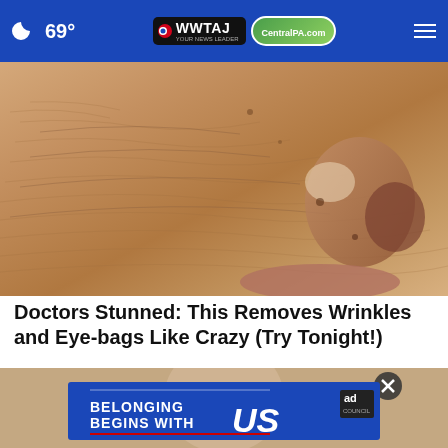🌙 69° | WWTAJ CentralPA.com
[Figure (photo): Close-up photo of elderly person's face showing wrinkled skin, nose, and lips with dry, textured skin detail]
Doctors Stunned: This Removes Wrinkles and Eye-bags Like Crazy (Try Tonight!)
Trending Stories
[Figure (photo): Partial photo of person's face at bottom of page with an advertisement overlay: 'BELONGING BEGINS WITH US' Ad Council banner, and an X close button]